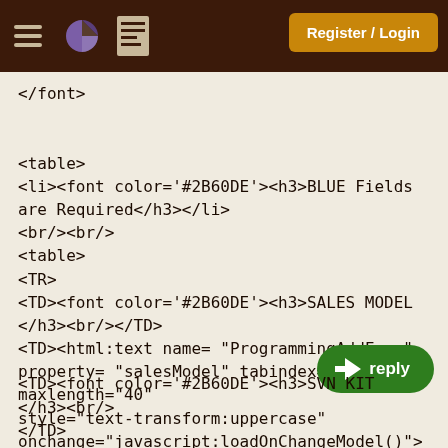Register / Login
</font>


<table>
<li><font color='#2B60DE'><h3>BLUE Fields are Required</h3></li>
<br/><br/>
<table>
<TR>
<TD><font color='#2B60DE'><h3>SALES MODEL </h3><br/></TD>
<TD><html:text name= "ProgrammingAddForm" property= "salesModel" tabindex="8" maxlength="40" style="text-transform:uppercase" onchange="javascript:loadOnChangeModel()">
</html:text></TD>
[Figure (other): Reply button with arrow icon]
<TD><font color='#2B60DE'><h3>SVN KIT </h3><br/>
</TD>